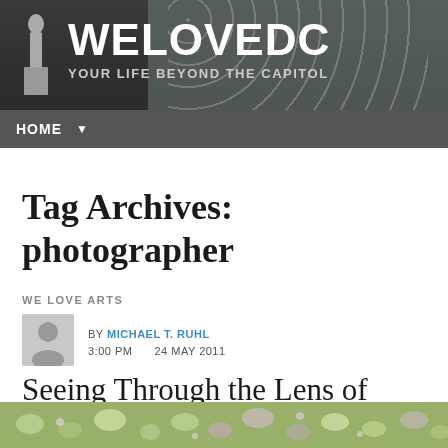WELOVEDC — YOUR LIFE BEYOND THE CAPITOL
Tag Archives: photographer
WE LOVE ARTS
BY MICHAEL T. RUHL  3:00 PM  24 MAY 2011
Seeing Through the Lens of Award-Winning Photographer Carol Guzy
[Figure (photo): Flower photograph strip at the bottom of the page — soft focus purple and white flowers]